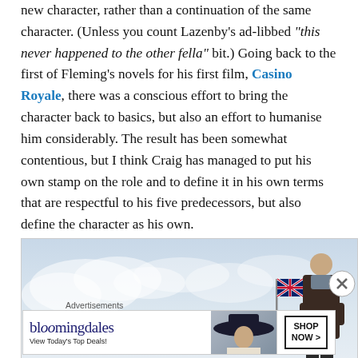new character, rather than a continuation of the same character. (Unless you count Lazenby's ad-libbed "this never happened to the other fella" bit.) Going back to the first of Fleming's novels for his first film, Casino Royale, there was a conscious effort to bring the character back to basics, but also an effort to humanise him considerably. The result has been somewhat contentious, but I think Craig has managed to put his own stamp on the role and to define it in his own terms that are respectful to his five predecessors, but also define the character as his own.
[Figure (photo): A man in dark coat standing against a sky background, with a British flag visible. Appears to be a James Bond related image.]
Advertisements
[Figure (other): Bloomingdale's advertisement banner: 'View Today's Top Deals!' with SHOP NOW button and image of woman with hat.]